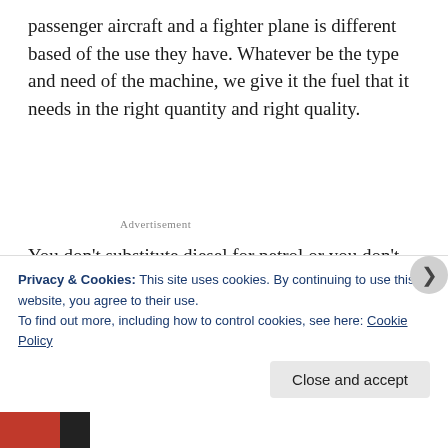passenger aircraft and a fighter plane is different based of the use they have. Whatever be the type and need of the machine, we give it the fuel that it needs in the right quantity and right quality.
Advertisement
You don't substitute diesel for petrol or you don't put extra fuel in a two seater because you fancy it moving faster- you cannot do that. Similarly, we give our body the right quantity and quality of food. Not too much, not too
Privacy & Cookies: This site uses cookies. By continuing to use this website, you agree to their use.
To find out more, including how to control cookies, see here: Cookie Policy
Close and accept